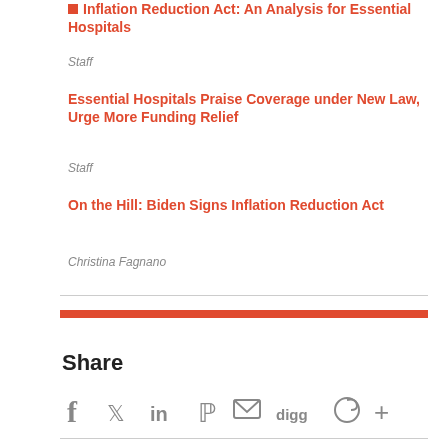Inflation Reduction Act: An Analysis for Essential Hospitals
Staff
Essential Hospitals Praise Coverage under New Law, Urge More Funding Relief
Staff
On the Hill: Biden Signs Inflation Reduction Act
Christina Fagnano
[Figure (other): Red horizontal bar separator]
Share
[Figure (other): Social share icons: Facebook, Twitter, LinkedIn, Pinterest, Email, Digg, Evernote, More]